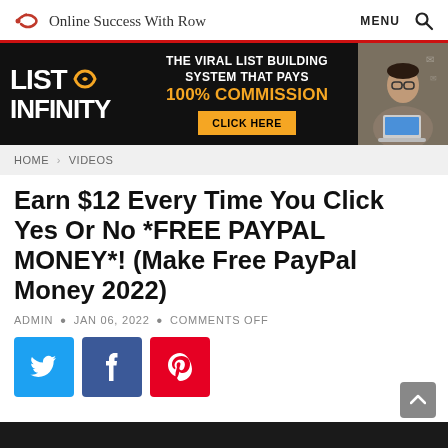Online Success With Row | MENU 🔍
[Figure (infographic): List Infinity banner ad: black background, 'LIST INFINITY' logo with infinity symbol in gold, text 'THE VIRAL LIST BUILDING SYSTEM THAT PAYS 100% COMMISSION', yellow 'CLICK HERE' button, photo of person with laptop on right]
HOME > VIDEOS
Earn $12 Every Time You Click Yes Or No *FREE PAYPAL MONEY*! (Make Free PayPal Money 2022)
ADMIN • JAN 06, 2022 • COMMENTS OFF
[Figure (other): Social share buttons: Twitter (blue), Facebook (dark blue), Pinterest (red)]